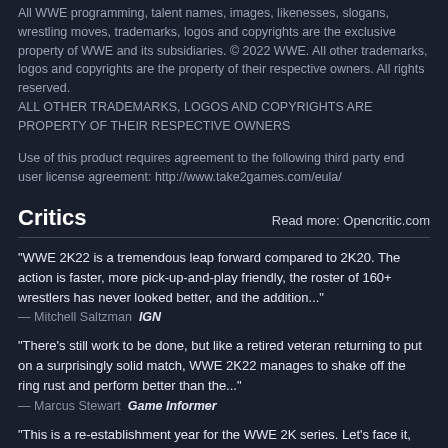All WWE programming, talent names, images, likenesses, slogans, wrestling moves, trademarks, logos and copyrights are the exclusive property of WWE and its subsidiaries. © 2022 WWE. All other trademarks, logos and copyrights are the property of their respective owners. All rights reserved. ALL OTHER TRADEMARKS, LOGOS AND COPYRIGHTS ARE PROPERTY OF THEIR RESPECTIVE OWNERS
Use of this product requires agreement to the following third party end user license agreement: http://www.take2games.com/eula/
Critics
Read more: Opencritic.com
"WWE 2K22 is a tremendous leap forward compared to 2K20. The action is faster, more pick-up-and-play friendly, the roster of 160+ wrestlers has never looked better, and the addition..."
— Mitchell Saltzman  IGN
"There's still work to be done, but like a retired veteran returning to put on a surprisingly solid match, WWE 2K22 manages to shake off the ring rust and perform better than the..."
— Marcus Stewart  Game Informer
"This is a re-establishment year for the WWE 2K series. Let's face it, WWE 2K20 was rough and while it took more than 2 years to develop, 2K has re-emerged with a strong and not only..."